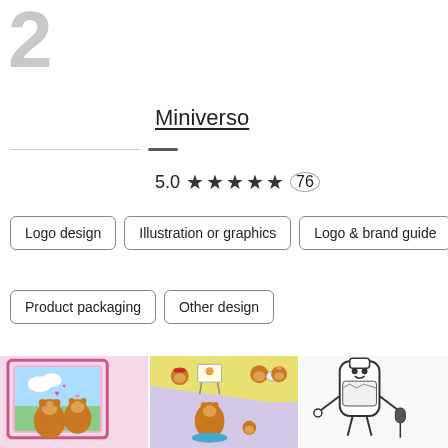2
Miniverso
5.0 ★★★★★ (76)
Logo design
Illustration or graphics
Logo & brand guide
Product packaging
Other design
[Figure (illustration): Three thumbnail images showing cartoon otter character illustrations: left shows two otters in a decorative frame with hearts; middle shows multiple otter characters on yellow and lavender background with an easel; right shows black and white cartoon characters including a milk bottle and microphone.]